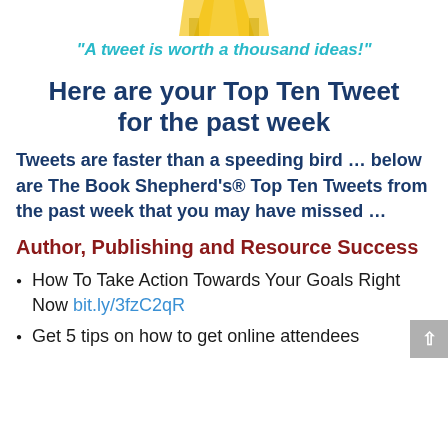[Figure (illustration): Bird/tweet mascot illustration at top of page (partially visible)]
"A tweet is worth a thousand ideas!"
Here are your Top Ten Tweet for the past week
Tweets are faster than a speeding bird … below are The Book Shepherd's® Top Ten Tweets from the past week that you may have missed …
Author, Publishing and Resource Success
How To Take Action Towards Your Goals Right Now bit.ly/3fzC2qR
Get 5 tips on how to get online attendees